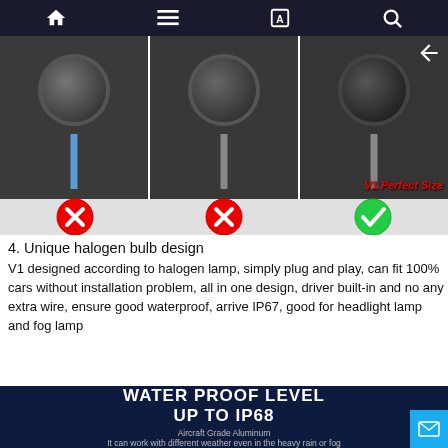Navigation bar with home, menu, translate, search icons
[Figure (photo): Three LED/halogen bulb comparison photos side by side. Left two have red X marks (incorrect size), right one has green checkmark with 'V1 Perfect Size' label in red.]
4. Unique halogen bulb design
V1 designed according to halogen lamp, simply plug and play, can fit 100% cars without installation problem, all in one design, driver built-in and no any extra wire, ensure good waterproof, arrive IP67, good for headlight lamp and fog lamp
[Figure (infographic): Dark navy banner with bold white text 'WATER PROOF LEVEL UP TO IP68', subtitle 'Aircraft Grade Aluminum', body text 'It can work with different weather even in the heavy rain or fog']